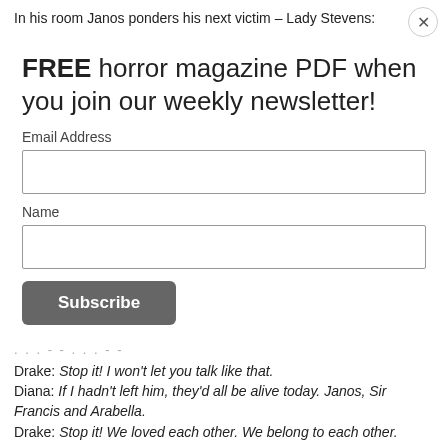In his room Janos ponders his next victim – Lady Stevens:
FREE horror magazine PDF when you join our weekly newsletter!
Email Address
Name
Subscribe
Your email's safe with us: we will never sell, share or rent it. Ever. See our Privacy Policy.
. . . - - . . . - -
Drake: Stop it! I won't let you talk like that.
Diana: If I hadn't left him, they'd all be alive today. Janos, Sir Francis and Arabella.
Drake: Stop it! We loved each other. We belong to each other.